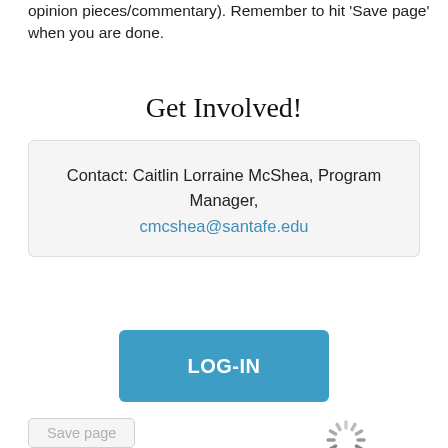opinion pieces/commentary). Remember to hit 'Save page' when you are done.
Get Involved!
Contact: Caitlin Lorraine McShea, Program Manager, cmcshea@santafe.edu
[Figure (screenshot): Blue LOG-IN button]
[Figure (screenshot): Save page button (grayed out) and loading spinner]
Keywords:
Related files (for open-source references
Upload file